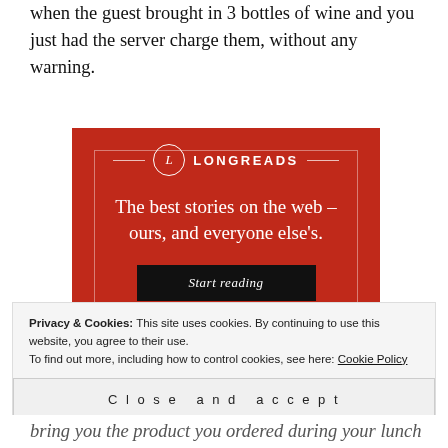when the guest brought in 3 bottles of wine and you just had the server charge them, without any warning.
[Figure (illustration): Longreads advertisement banner with red background, circular L logo, decorative inner border, tagline 'The best stories on the web – ours, and everyone else's.' and a black 'Start reading' button.]
Privacy & Cookies: This site uses cookies. By continuing to use this website, you agree to their use.
To find out more, including how to control cookies, see here: Cookie Policy
Close and accept
bring you the product you ordered during your lunch